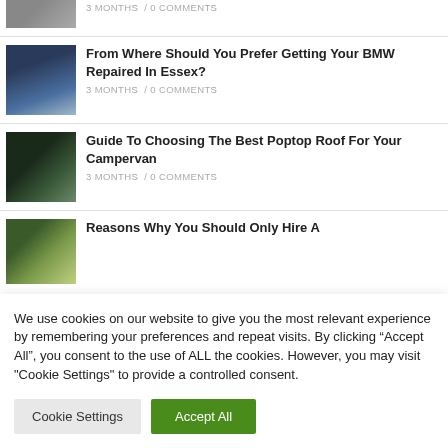[Figure (photo): Partial thumbnail of a car repair scene, cropped at top]
3 MONTHS / 0 COMMENTS
[Figure (photo): Two people looking under the hood of a blue BMW car]
From Where Should You Prefer Getting Your BMW Repaired In Essex?
3 MONTHS / 0 COMMENTS
[Figure (photo): Black campervan with pop-top roof raised]
Guide To Choosing The Best Poptop Roof For Your Campervan
3 MONTHS / 0 COMMENTS
[Figure (photo): Partial thumbnail of outdoor scene with vehicles]
Reasons Why You Should Only Hire A
We use cookies on our website to give you the most relevant experience by remembering your preferences and repeat visits. By clicking “Accept All”, you consent to the use of ALL the cookies. However, you may visit "Cookie Settings" to provide a controlled consent.